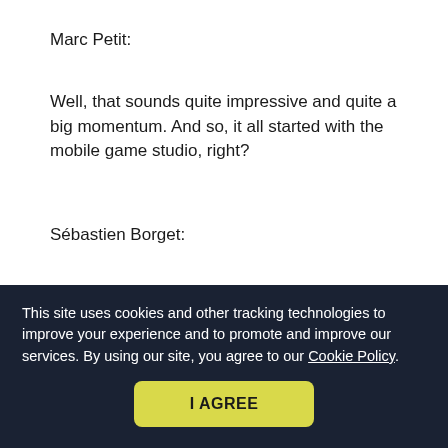Marc Petit:
Well, that sounds quite impressive and quite a big momentum. And so, it all started with the mobile game studio, right?
Sébastien Borget:
Exactly right. That's our background is in gaming, our heart is in gaming. But definitely, Sandbox is becoming much more than gaming today.
Marc Petit:
This site uses cookies and other tracking technologies to improve your experience and to promote and improve our services. By using our site, you agree to our Cookie Policy.